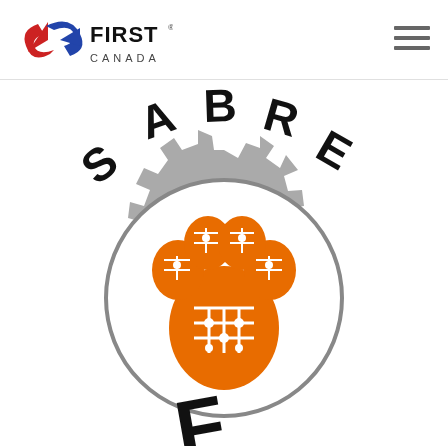[Figure (logo): FIRST Canada logo with red and blue interlinked arrows and FIRST CANADA text]
[Figure (logo): Sabre Cats team logo: SABRE text arched over a gray gear containing an orange circuit-board paw print]
[Figure (other): Hamburger menu icon (three horizontal lines) in top right corner]